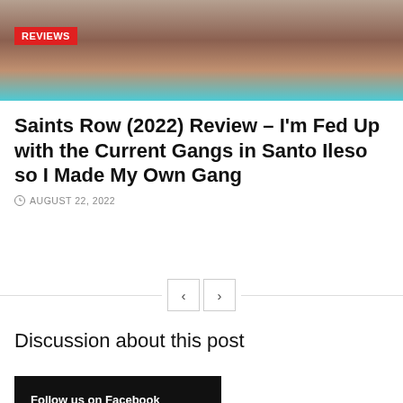[Figure (photo): Hero image of Saints Row 2022 game, showing a character with a hat against a teal background, with a red REVIEWS badge overlay.]
Saints Row (2022) Review – I'm Fed Up with the Current Gangs in Santo Ileso so I Made My Own Gang
AUGUST 22, 2022
Discussion about this post
Follow us on Facebook